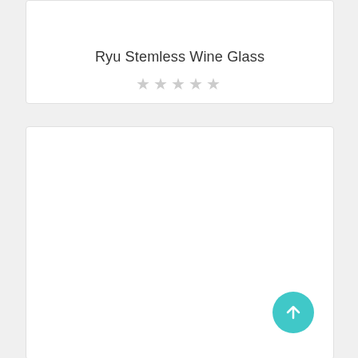Ryu Stemless Wine Glass
★★★★★
[Figure (other): Empty white card panel below the product listing card]